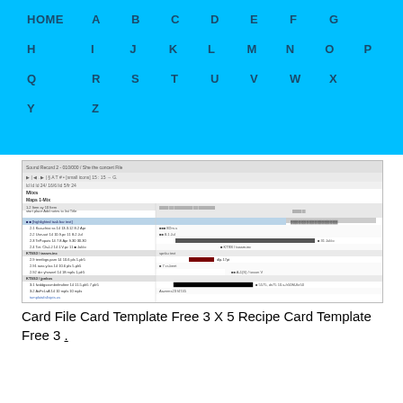HOME A B C D E F G H I J K L M N O P Q R S T U V W X Y Z
[Figure (screenshot): A Gantt chart / project schedule software screenshot showing tasks with timeline bars, including highlighted rows in blue, dark and red bars on the right side timeline panel, and a watermark link at the bottom.]
Card File Card Template Free 3 X 5 Recipe Card Template Free 3 .